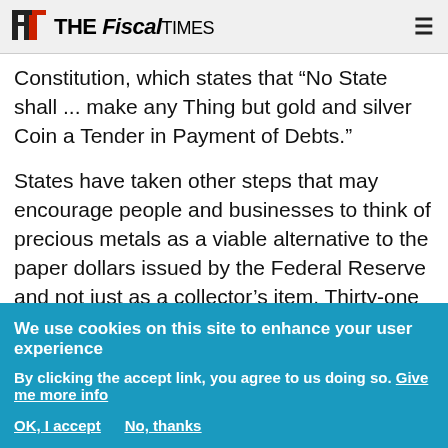The Fiscal Times
Constitution, which states that “No State shall ... make any Thing but gold and silver Coin a Tender in Payment of Debts.”
States have taken other steps that may encourage people and businesses to think of precious metals as a viable alternative to the paper dollars issued by the Federal Reserve and not just as a collector’s item. Thirty-one states have eliminated part or all state sales taxes on transactions involving silver
We use cookies on this site to enhance your user experience
By clicking the accept link, you agree to us doing so. Give me more info
OK, I accept    No, thanks